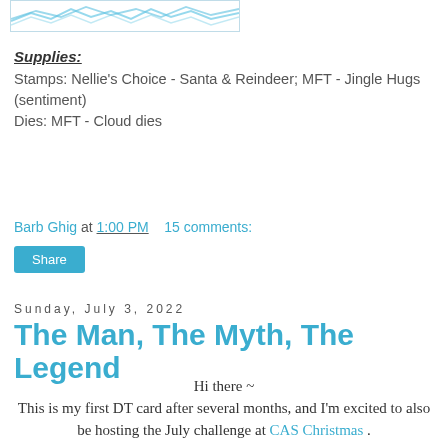[Figure (illustration): Partial image showing light blue wave/water pattern lines at the top of the page]
Supplies:
Stamps: Nellie's Choice - Santa & Reindeer; MFT - Jingle Hugs (sentiment)
Dies: MFT - Cloud dies
Barb Ghig at 1:00 PM   15 comments:
Share
Sunday, July 3, 2022
The Man, The Myth, The Legend
Hi there ~
This is my first DT card after several months, and I'm excited to also be hosting the July challenge at CAS Christmas .